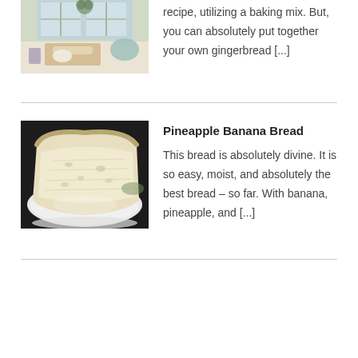[Figure (photo): Kitchen counter scene with baking supplies, sunlit windows in background]
recipe, utilizing a baking mix. But, you can absolutely put together your own gingerbread [...]
[Figure (photo): Slice of pineapple banana bread on a white plate, close-up]
Pineapple Banana Bread
This bread is absolutely divine. It is so easy, moist, and absolutely the best bread – so far. With banana, pineapple, and [...]